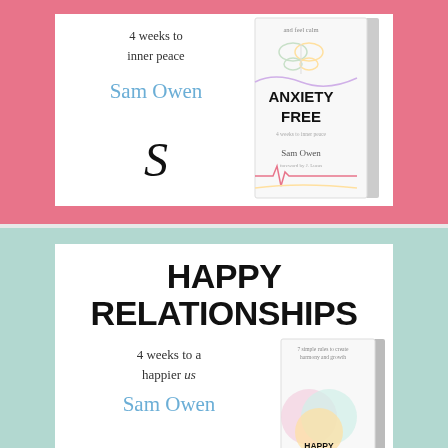[Figure (illustration): Top book advertisement card with pink border showing 'Anxiety Free: 4 weeks to inner peace' by Sam Owen, with publisher logo and book cover image on right]
4 weeks to inner peace
Sam Owen
[Figure (illustration): Bottom book advertisement card with mint/teal border showing 'Happy Relationships: 4 weeks to a happier us' by Sam Owen, with book cover image on right]
HAPPY RELATIONSHIPS
4 weeks to a happier us
Sam Owen